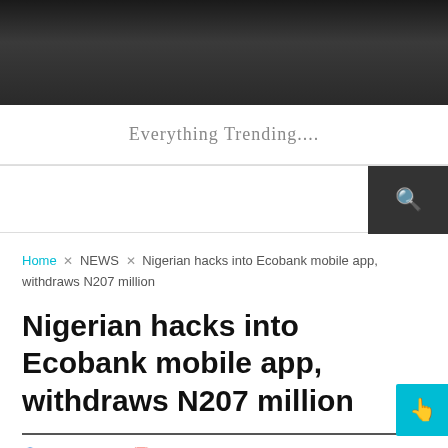[Figure (photo): Dark header image, appears to be a blurred/dark background photo]
Everything Trending....
Home × NEWS × Nigerian hacks into Ecobank mobile app, withdraws N207 million
Nigerian hacks into Ecobank mobile app, withdraws N207 million
FaithAdama   4 years ago   NEWS,